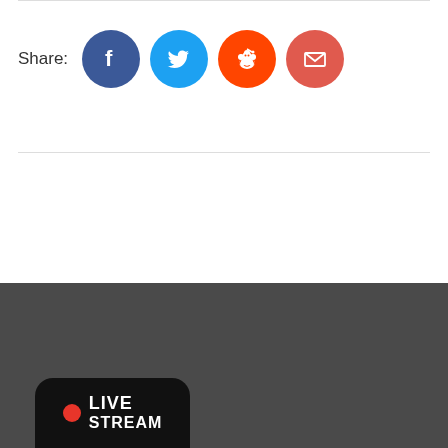Share:
[Figure (illustration): Social media share buttons: Facebook (blue circle with f icon), Twitter (light blue circle with bird icon), Reddit (orange circle with alien icon), Email (red circle with envelope icon)]
[Figure (logo): Livestream logo badge: black rounded rectangle with red dot and white text LIVE STREAM]